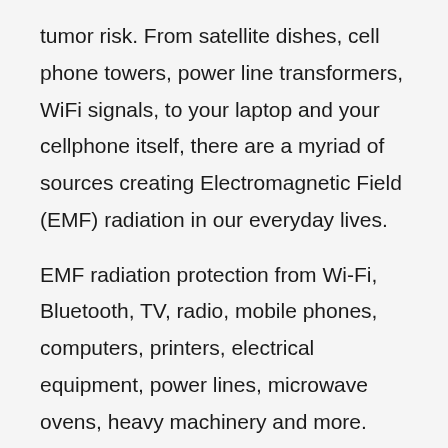tumor risk. From satellite dishes, cell phone towers, power line transformers, WiFi signals, to your laptop and your cellphone itself, there are a myriad of sources creating Electromagnetic Field (EMF) radiation in our everyday lives.
EMF radiation protection from Wi-Fi, Bluetooth, TV, radio, mobile phones, computers, printers, electrical equipment, power lines, microwave ovens, heavy machinery and more.
Go to: UMH Cell phone Disc